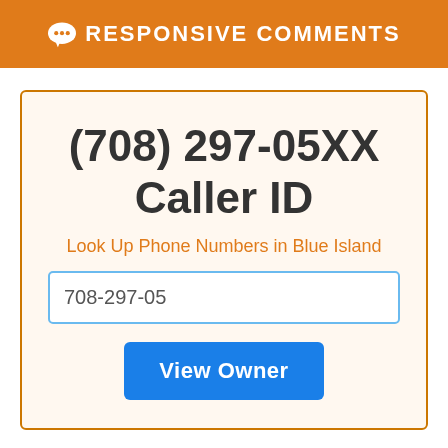RESPONSIVE COMMENTS
(708) 297-05XX
Caller ID
Look Up Phone Numbers in Blue Island
708-297-05
View Owner